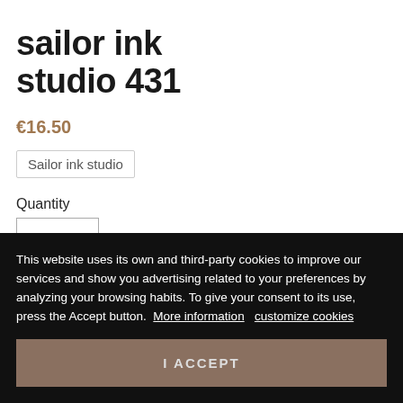sailor ink studio 431
€16.50
Sailor ink studio
Quantity
This website uses its own and third-party cookies to improve our services and show you advertising related to your preferences by analyzing your browsing habits. To give your consent to its use, press the Accept button.  More information   customize cookies
I ACCEPT